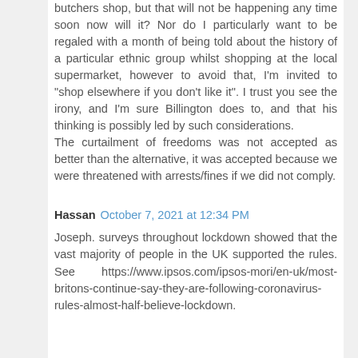butchers shop, but that will not be happening any time soon now will it? Nor do I particularly want to be regaled with a month of being told about the history of a particular ethnic group whilst shopping at the local supermarket, however to avoid that, I'm invited to "shop elsewhere if you don't like it". I trust you see the irony, and I'm sure Billington does to, and that his thinking is possibly led by such considerations.
The curtailment of freedoms was not accepted as better than the alternative, it was accepted because we were threatened with arrests/fines if we did not comply.
Hassan  October 7, 2021 at 12:34 PM
Joseph. surveys throughout lockdown showed that the vast majority of people in the UK supported the rules. See https://www.ipsos.com/ipsos-mori/en-uk/most-britons-continue-say-they-are-following-coronavirus-rules-almost-half-believe-lockdown.